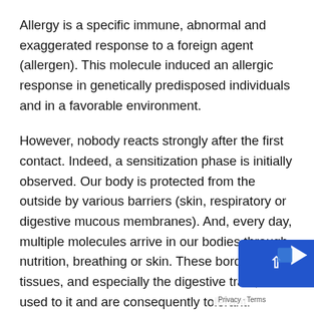Allergy is a specific immune, abnormal and exaggerated response to a foreign agent (allergen). This molecule induced an allergic response in genetically predisposed individuals and in a favorable environment.
However, nobody reacts strongly after the first contact. Indeed, a sensitization phase is initially observed. Our body is protected from the outside by various barriers (skin, respiratory or digestive mucous membranes). And, every day, multiple molecules arrive in our bodies through nutrition, breathing or skin. These border tissues, and especially the digestive tract, are used to it and are consequently tolerant. However, some foreign elements are recognized by immune cells which induce a normal immune response (when you cut